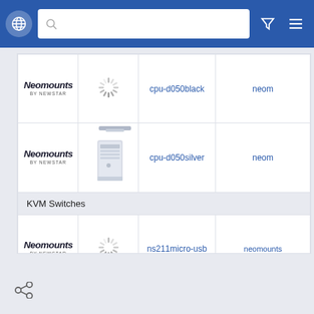[Figure (screenshot): Navigation bar with globe icon, search bar, filter icon, and hamburger menu on blue background]
| Brand | Image | Product Code | Brand Name |
| --- | --- | --- | --- |
| Neomounts by Newstar | [loading] | cpu-d050black | neom |
| Neomounts by Newstar | [cpu image] | cpu-d050silver | neom |
| KVM Switches |  |  |  |
| Neomounts by Newstar | [loading] | ns211micro-usb | neomounts |
[Figure (screenshot): Bottom bar with share icon]